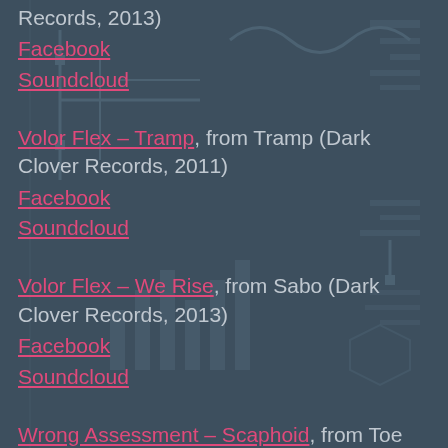Records, 2013)
Facebook
Soundcloud
Volor Flex – Tramp, from Tramp (Dark Clover Records, 2011)
Facebook
Soundcloud
Volor Flex – We Rise, from Sabo (Dark Clover Records, 2013)
Facebook
Soundcloud
Wrong Assessment – Scaphoid, from Toe Tag EP (Parachute Records, 2015)
Soundcloud
Wrong Assessment Facebook